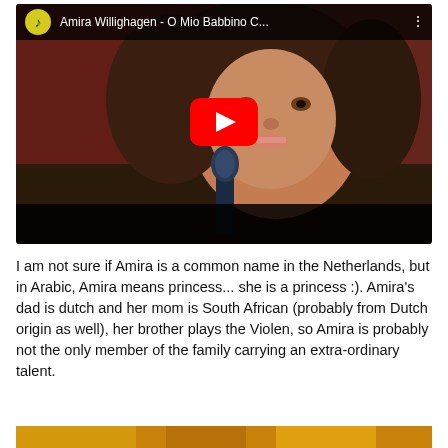[Figure (screenshot): YouTube video thumbnail showing a young girl with curly hair singing into a microphone, with a red YouTube play button overlay. Video title bar reads: 'Amira Willighagen - O Mio Babbino C...' with a music note / rainbow icon on the left and three dots on the right.]
I am not sure if Amira is a common name in the Netherlands, but in Arabic, Amira means princess... she is a princess :). Amira's dad is dutch and her mom is South African (probably from Dutch origin as well), her brother plays the Violen, so Amira is probably not the only member of the family carrying an extra-ordinary talent.
[Figure (photo): Partial bottom strip showing another video thumbnail with warm golden/orange tones.]